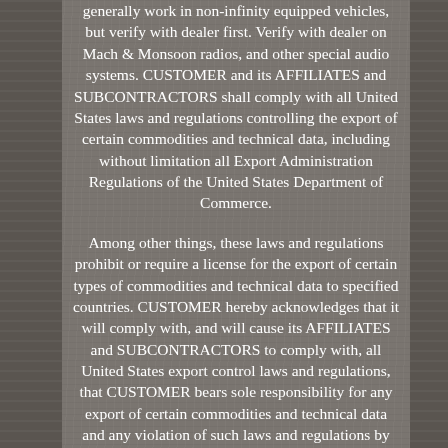generally work in non-infinity equipped vehicles, but verify with dealer first. Verify with dealer on Mach & Monsoon radios, and other special audio systems. CUSTOMER and its AFFILIATES and SUBCONTRACTORS shall comply with all United States laws and regulations controlling the export of certain commodities and technical data, including without limitation all Export Administration Regulations of the United States Department of Commerce.

Among other things, these laws and regulations prohibit or require a license for the export of certain types of commodities and technical data to specified countries. CUSTOMER hereby acknowledges that it will comply with, and will cause its AFFILIATES and SUBCONTRACTORS to comply with, all United States export control laws and regulations, that CUSTOMER bears sole responsibility for any export of certain commodities and technical data and any violation of such laws and regulations by itself or its AFFILIATES or SUBCONTRACTORS. CUSTOMER and its AFFILIATES and SUBCONTRACTORS will indemnify, defend, and hold LKQ ONLINE harmless for any consequences of any such violation.